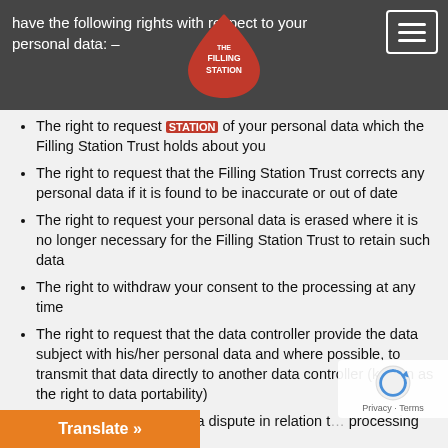have the following rights with respect to your personal data: –
[Figure (logo): The Filling Station logo — red teardrop shape with white text 'THE FILLING STATION' inside]
The right to request [access] of your personal data which the Filling Station Trust holds about you
The right to request that the Filling Station Trust corrects any personal data if it is found to be inaccurate or out of date
The right to request your personal data is erased where it is no longer necessary for the Filling Station Trust to retain such data
The right to withdraw your consent to the processing at any time
The right to request that the data controller provide the data subject with his/her personal data and where possible, to transmit that data directly to another data controller (known as the right to data portability)
The right, where there is a dispute in relation to the processing of your personal data, to…